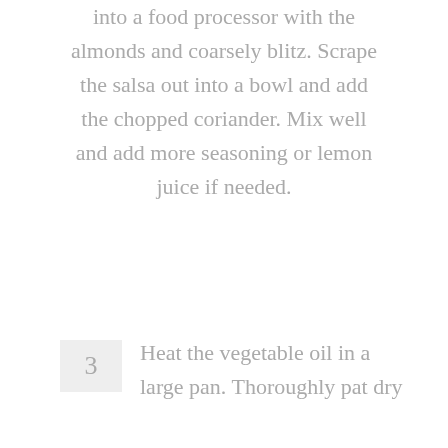into a food processor with the almonds and coarsely blitz. Scrape the salsa out into a bowl and add the chopped coriander. Mix well and add more seasoning or lemon juice if needed.
3   Heat the vegetable oil in a large pan. Thoroughly pat dry